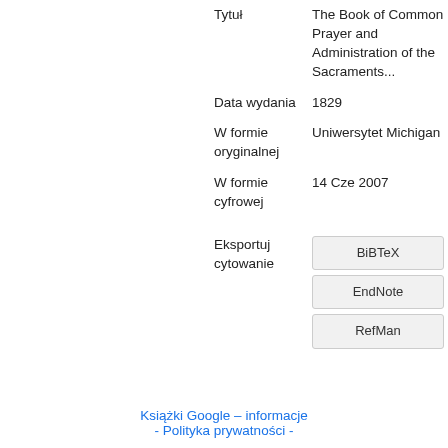| Tytuł | The Book of Common Prayer and Administration of the Sacraments... |
| Data wydania | 1829 |
| W formie oryginalnej | Uniwersytet Michigan |
| W formie cyfrowej | 14 Cze 2007 |
| Eksportuj cytowanie | BiBTeX | EndNote | RefMan |
Książki Google – informacje - Polityka prywatności -